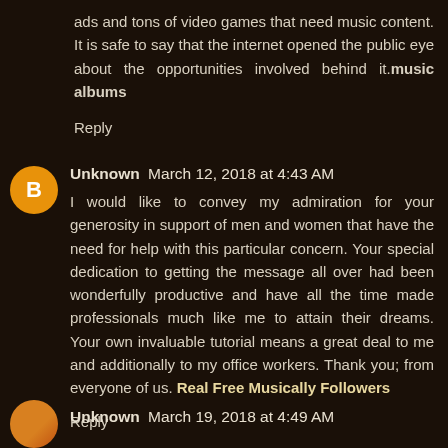ads and tons of video games that need music content. It is safe to say that the internet opened the public eye about the opportunities involved behind it.music albums
Reply
Unknown  March 12, 2018 at 4:43 AM
I would like to convey my admiration for your generosity in support of men and women that have the need for help with this particular concern. Your special dedication to getting the message all over had been wonderfully productive and have all the time made professionals much like me to attain their dreams. Your own invaluable tutorial means a great deal to me and additionally to my office workers. Thank you; from everyone of us. Real Free Musically Followers
Reply
Unknown  March 19, 2018 at 4:49 AM